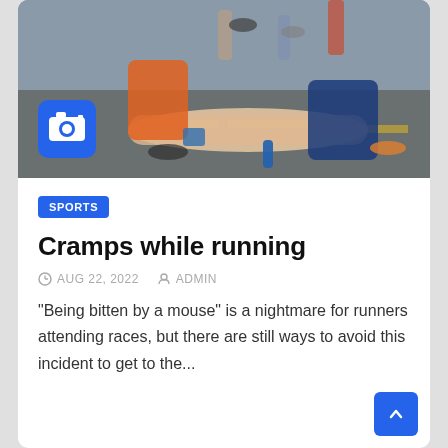[Figure (photo): A runner on the ground with legs extended being helped by another person crouching, with running gear and water bottles visible on asphalt, camera icon overlay in bottom-left corner]
SPORTS
Cramps while running
AUG 22, 2022   ADMIN
"Being bitten by a mouse" is a nightmare for runners attending races, but there are still ways to avoid this incident to get to the...